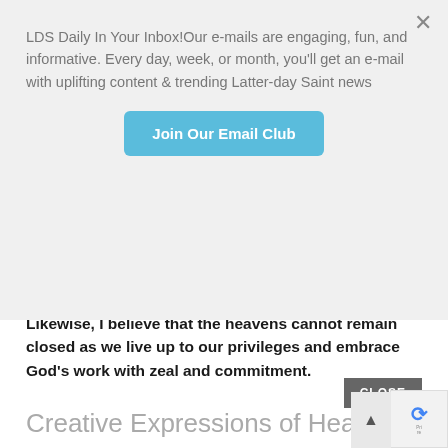LDS Daily In Your Inbox!Our e-mails are engaging, fun, and informative. Every day, week, or month, you'll get an e-mail with uplifting content & trending Latter-day Saint news
Join Our Email Club
[Figure (photo): Advertisement photo showing students at laptops in a classroom setting with TABC Classroom Edition logo and 'Learn More!' button. Text reads 'from Teen Author Boot Camp 24 | Learn More! TABC CLASSROOM EDITION Where Best-selling Authors Teach Writing']
Likewise, I believe that the heavens cannot remain closed as we live up to our privileges and embrace God's work with zeal and commitment.
Creative Expressions of Heavenly